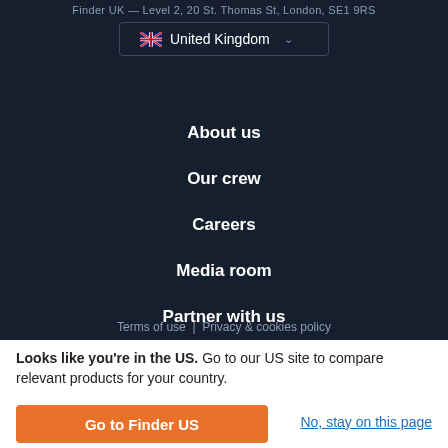Finder UK — Level 2, 20 St. Thomas St, London, SE1 9RS
[Figure (other): Country selector button with UK flag and 'United Kingdom' text and chevron]
About us
Our crew
Careers
Media room
Partner with us
How we fund this site
Terms of use  |  Privacy & cookies policy
Looks like you're in the US. Go to our US site to compare relevant products for your country.
Go to Finder US
No, stay on this page